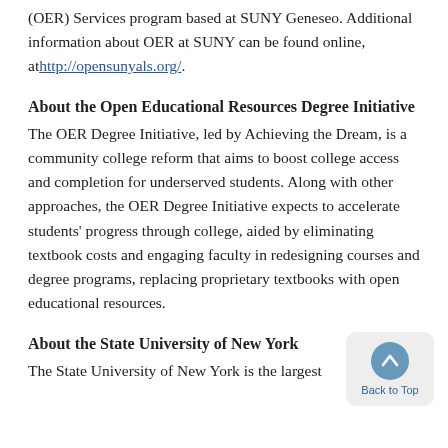(OER) Services program based at SUNY Geneseo. Additional information about OER at SUNY can be found online, at http://opensunyals.org/.
About the Open Educational Resources Degree Initiative
The OER Degree Initiative, led by Achieving the Dream, is a community college reform that aims to boost college access and completion for underserved students. Along with other approaches, the OER Degree Initiative expects to accelerate students' progress through college, aided by eliminating textbook costs and engaging faculty in redesigning courses and degree programs, replacing proprietary textbooks with open educational resources.
About the State University of New York
The State University of New York is the largest